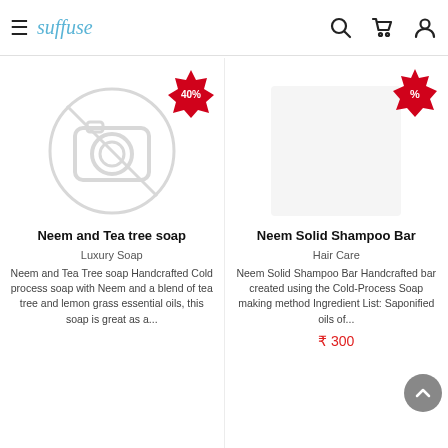suffuse — navigation header with hamburger menu, logo, search, cart, and user icons
[Figure (illustration): Product card 1: Red starburst badge showing '40%', placeholder camera icon image for Neem and Tea tree soap]
Neem and Tea tree soap
Luxury Soap
Neem and Tea Tree soap Handcrafted Cold process soap with Neem and a blend of tea tree and lemon grass essential oils, this soap is great as a...
[Figure (illustration): Product card 2: Red starburst badge showing '%', placeholder image area for Neem Solid Shampoo Bar]
Neem Solid Shampoo Bar
Hair Care
Neem Solid Shampoo Bar Handcrafted bar created using the Cold-Process Soap making method Ingredient List: Saponified oils of...
₹ 300